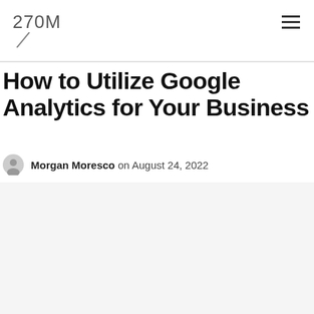270M
How to Utilize Google Analytics for Your Business
Morgan Moresco on August 24, 2022
[Figure (illustration): Blue banner image with diagonal white lines pattern on left side, white text reading 'How to Utilize Google Analytics for Your Business', small text block on right, and a yellow square in the bottom-right corner.]